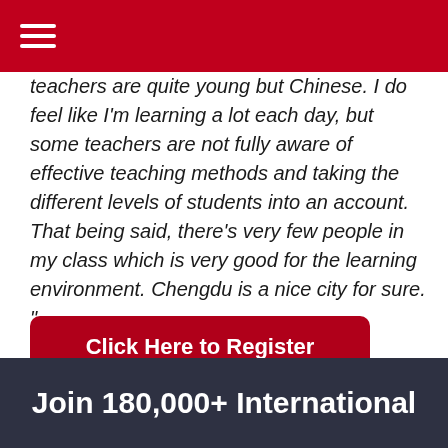teachers are quite young but Chinese. I do feel like I'm learning a lot each day, but some teachers are not fully aware of effective teaching methods and taking the different levels of students into an account. That being said, there's very few people in my class which is very good for the learning environment. Chengdu is a nice city for sure. "
- Nuukie, Denmark
Click Here to Register Interest >>
Join 180,000+ International